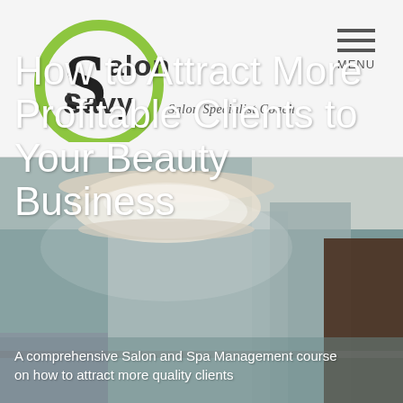[Figure (logo): Salon Savy - Salon Specialist Coach logo with green circular S graphic]
MENU
[Figure (photo): Interior photo of a salon/spa with chandelier, soft ambient lighting, and furniture]
How to Attract More Profitable Clients to Your Beauty Business
A comprehensive Salon and Spa Management course on how to attract more quality clients